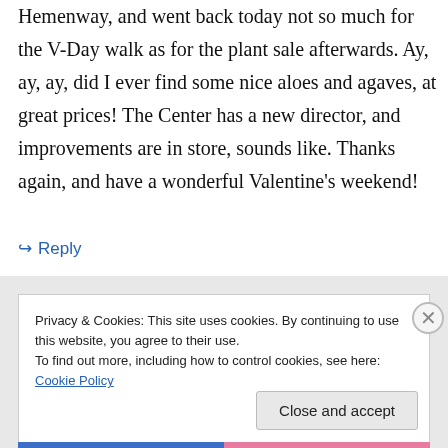Hemenway, and went back today not so much for the V-Day walk as for the plant sale afterwards. Ay, ay, ay, did I ever find some nice aloes and agaves, at great prices! The Center has a new director, and improvements are in store, sounds like. Thanks again, and have a wonderful Valentine's weekend!
↳ Reply
Privacy & Cookies: This site uses cookies. By continuing to use this website, you agree to their use.
To find out more, including how to control cookies, see here: Cookie Policy
Close and accept